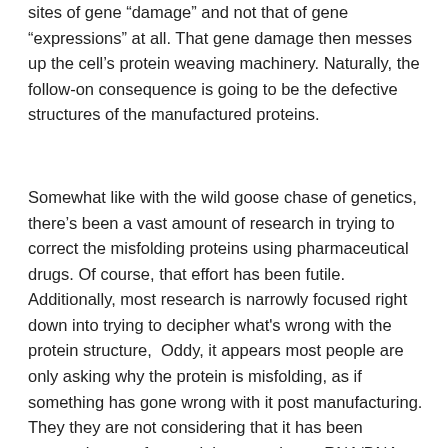sites of gene “damage” and not that of gene “expressions” at all. That gene damage then messes up the cell’s protein weaving machinery. Naturally, the follow-on consequence is going to be the defective structures of the manufactured proteins.
Somewhat like with the wild goose chase of genetics, there’s been a vast amount of research in trying to correct the misfolding proteins using pharmaceutical drugs. Of course, that effort has been futile. Additionally, most research is narrowly focused right down into trying to decipher what's wrong with the protein structure,  Oddy, it appears most people are only asking why the protein is misfolding, as if something has gone wrong with it post manufacturing. They they are not considering that it has been expressly manufactured that way due to RNA/DNA damage.